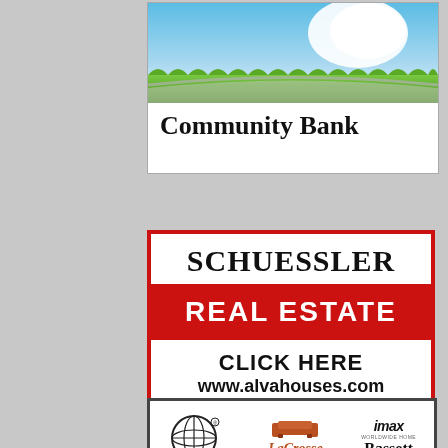[Figure (illustration): Community Bank advertisement showing a white piggy bank on green grass with blue sky background and 'Community Bank' text in serif bold font]
[Figure (illustration): Schuessler Real Estate advertisement with red border. Large black serif text 'SCHUESSLER', red banner with white 'REAL ESTATE', then 'CLICK HERE' and 'www.alvahouses.com', and red banner with white text 'CALL ANY ONE OF OUR FRIENDLY AGENTS FOR ALL OF YOUR REAL ESTATE NEEDS.']
[Figure (logo): Bottom advertisement showing Simmons globe logo, LaCrosse furniture script logo with sofa icon, and IMAX Worldwide Home Bassett logos]